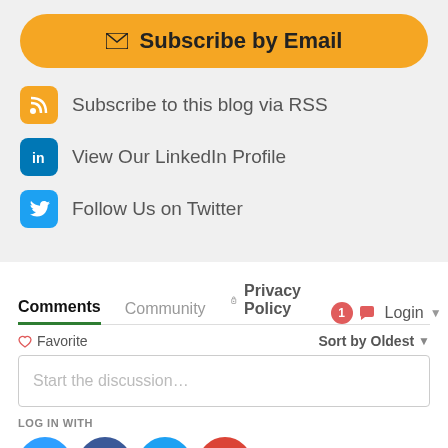Subscribe by Email
Subscribe to this blog via RSS
View Our LinkedIn Profile
Follow Us on Twitter
Comments  Community  Privacy Policy  Login
Favorite  Sort by Oldest
Start the discussion…
LOG IN WITH
[Figure (infographic): Social login buttons: Disqus (blue), Facebook (dark blue), Twitter (light blue), Google (red)]
OR SIGN UP WITH DISQUS